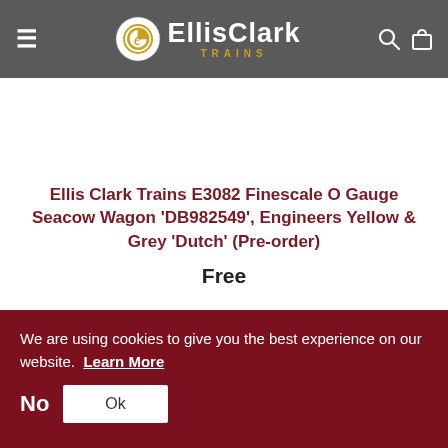EllisClark TRAINS
Ellis Clark Trains E3082 Finescale O Gauge Seacow Wagon 'DB982549', Engineers Yellow & Grey 'Dutch' (Pre-order)
Free
We are using cookies to give you the best experience on our website.  Learn More
No  Ok